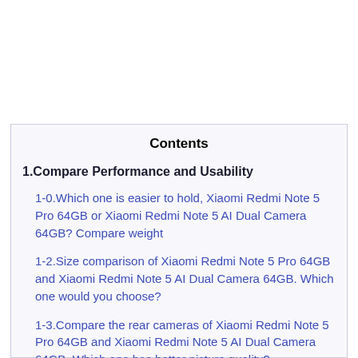Contents
1.Compare Performance and Usability
1-0.Which one is easier to hold, Xiaomi Redmi Note 5 Pro 64GB or Xiaomi Redmi Note 5 AI Dual Camera 64GB? Compare weight
1-2.Size comparison of Xiaomi Redmi Note 5 Pro 64GB and Xiaomi Redmi Note 5 AI Dual Camera 64GB. Which one would you choose?
1-3.Compare the rear cameras of Xiaomi Redmi Note 5 Pro 64GB and Xiaomi Redmi Note 5 AI Dual Camera 64GB. Which one has better picture quality?